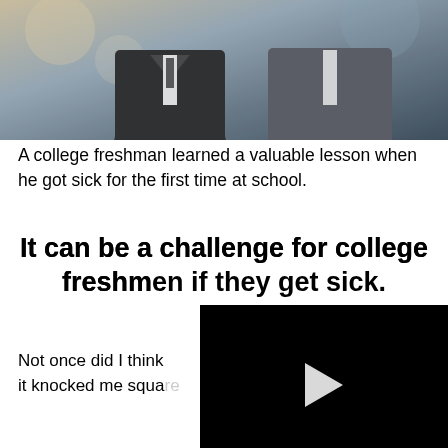[Figure (photo): Photo showing a person in dark clothing, blurred/bokeh background with warm and cool tones]
A college freshman learned a valuable lesson when he got sick for the first time at school.
It can be a challenge for college freshmen if they get sick.
Not once did I think about getting sick, but it knocked me squa...
[Figure (screenshot): Video player overlay showing a play button, progress bar at 00:41, and video controls including mute, settings, grid, and fullscreen icons]
I arrived back at my class around eight o'clock with a massive headache. "Whatever," I thought, "I'll take some ibuprofen and go to sleep a bit earlier this time." I